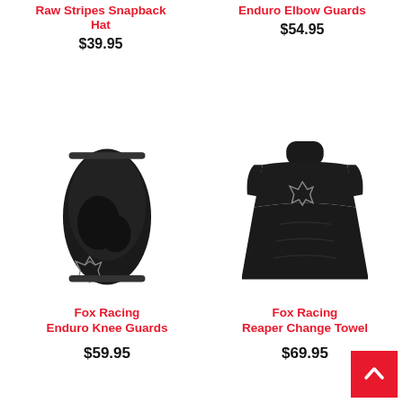Raw Stripes Snapback Hat
$39.95
Enduro Elbow Guards
$54.95
[Figure (photo): Black Fox Racing Enduro Knee Guards with Fox logo]
Fox Racing Enduro Knee Guards
$59.95
[Figure (photo): Black Fox Racing Reaper Change Towel poncho with Fox logo]
Fox Racing Reaper Change Towel
$69.95